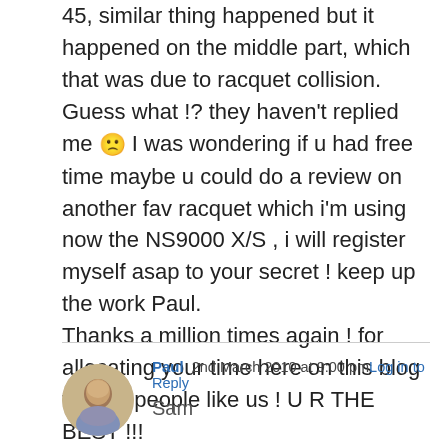45, similar thing happened but it happened on the middle part, which that was due to racquet collision. Guess what !? they haven't replied me 🙁 I was wondering if u had free time maybe u could do a review on another fav racquet which i'm using now the NS9000 X/S , i will register myself asap to your secret ! keep up the work Paul.
Thanks a million times again ! for allocating your time here on this blog to help people like us ! U R THE BEST !!!
Paul  2nd March 2010 at 9:00 pm  Log in to Reply
Sam